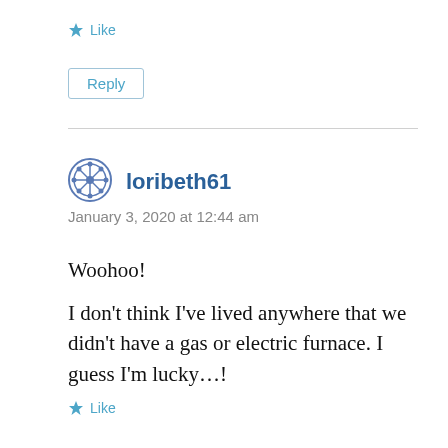★ Like
Reply
loribeth61
January 3, 2020 at 12:44 am
Woohoo!
I don't think I've lived anywhere that we didn't have a gas or electric furnace. I guess I'm lucky…!
★ Like